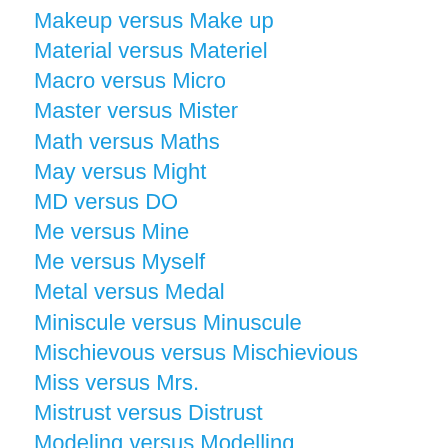Makeup versus Make up
Material versus Materiel
Macro versus Micro
Master versus Mister
Math versus Maths
May versus Might
MD versus DO
Me versus Mine
Me versus Myself
Metal versus Medal
Miniscule versus Minuscule
Mischievous versus Mischievious
Miss versus Mrs.
Mistrust versus Distrust
Modeling versus Modelling